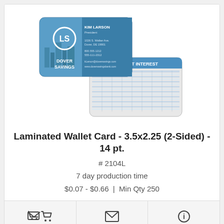[Figure (photo): Product photo showing two laminated wallet cards: one branded Dover Savings with a logo and contact info for Kim Larson, and another showing a Percent Interest table on the back side.]
Laminated Wallet Card - 3.5x2.25 (2-Sided) - 14 pt.
# 2104L
7 day production time
$0.07 - $0.66 | Min Qty 250
[Figure (photo): Partial product image at bottom showing a cartoon fisherman character on a blue background.]